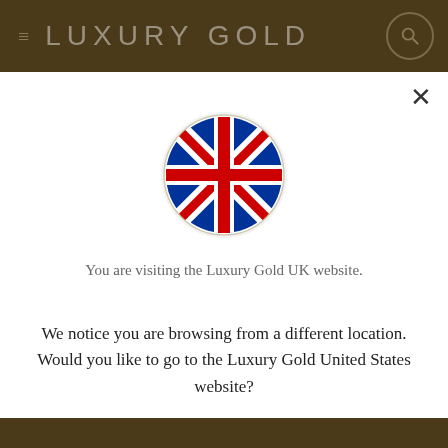LUXURY GOLD
[Figure (illustration): UK flag (Union Jack) displayed as a circular icon with white border and subtle shadow]
You are visiting the Luxury Gold UK website.
We notice you are browsing from a different location. Would you like to go to the Luxury Gold United States website?
Yes, please